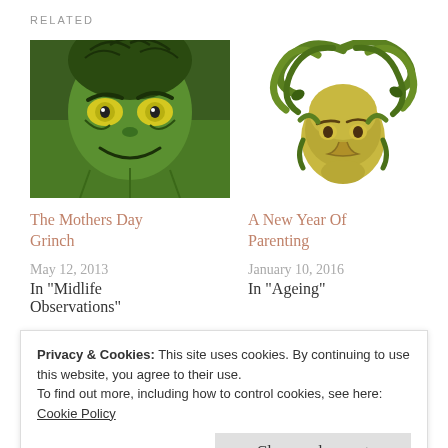RELATED
[Figure (photo): Green Grinch character face on a t-shirt with yellow eyes]
The Mothers Day Grinch
May 12, 2013
In "Midlife Observations"
[Figure (illustration): Medusa illustration with green snake hair]
A New Year Of Parenting
January 10, 2016
In "Ageing"
[Figure (photo): Partial photo showing a person's eyes and forehead]
Privacy & Cookies: This site uses cookies. By continuing to use this website, you agree to their use.
To find out more, including how to control cookies, see here:
Cookie Policy
Close and accept
Toxicity